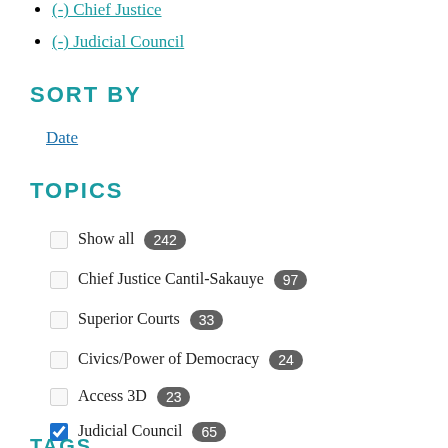(-) Chief Justice
(-) Judicial Council
SORT BY
Date
TOPICS
Show all 242
Chief Justice Cantil-Sakauye 97
Superior Courts 33
Civics/Power of Democracy 24
Access 3D 23
Judicial Council 65
TAGS